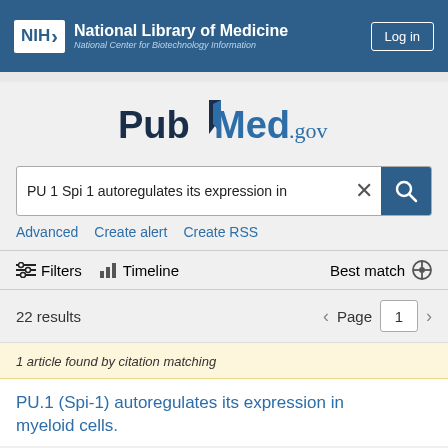NIH National Library of Medicine National Center for Biotechnology Information | Log in
[Figure (logo): PubMed.gov logo with book icon]
PU 1 Spi 1 autoregulates its expression in
Advanced   Create alert   Create RSS
Filters   Timeline   Best match
22 results   Page 1
1 article found by citation matching
PU.1 (Spi-1) autoregulates its expression in myeloid cells.